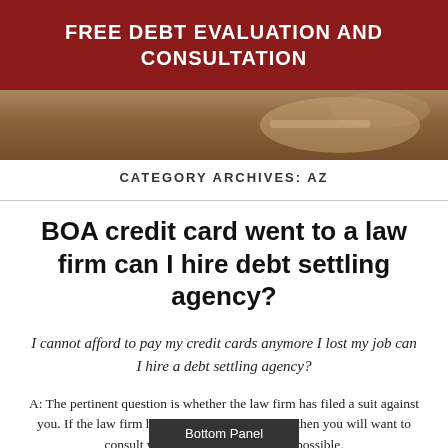FREE DEBT EVALUATION AND CONSULTATION
[Figure (photo): Background photo strip showing a person writing or handling documents, muted warm tones]
CATEGORY ARCHIVES: AZ
BOA credit card went to a law firm can I hire debt settling agency?
I cannot afford to pay my credit cards anymore I lost my job can I hire a debt settling agency?
A: The pertinent question is whether the law firm has filed a suit against you. If the law firm has filed a suit against you, then you will want to consult with an attorney as soon as possible.
Bottom Panel